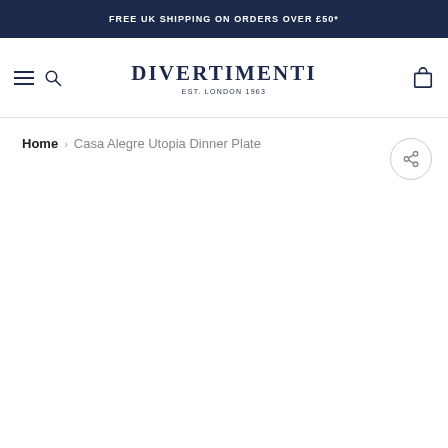FREE UK SHIPPING ON ORDERS OVER £50*
[Figure (logo): Divertimenti logo with text DIVERTIMENTI EST. LONDON 1963]
Home › Casa Alegre Utopia Dinner Plate